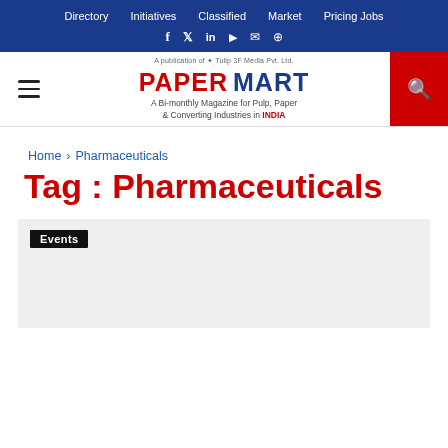Directory   Initiatives   Classified   Market   Pricing Jobs
[Figure (logo): Paper Mart logo — A Bi-monthly Magazine for Pulp, Paper & Converting Industries in INDIA]
Home > Pharmaceuticals
Tag : Pharmaceuticals
Events